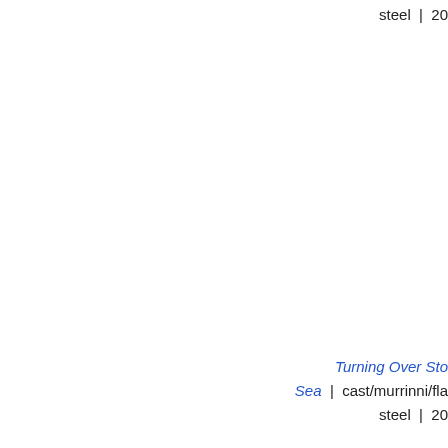steel | 20
Turning Over Sto
Sea | cast/murrinni/fla
steel | 20